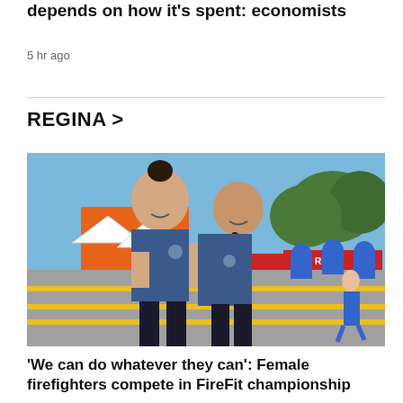depends on how it's spent: economists
5 hr ago
REGINA >
[Figure (photo): Two female firefighters in navy blue t-shirts smiling at a FireFit championship outdoor event. Background shows event banners, crowd, tents, and trees under a blue sky.]
'We can do whatever they can': Female firefighters compete in FireFit championship